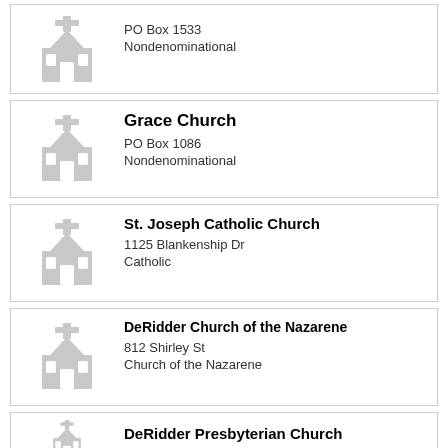PO Box 1533
Nondenominational
Grace Church
PO Box 1086
Nondenominational
St. Joseph Catholic Church
1125 Blankenship Dr
Catholic
DeRidder Church of the Nazarene
812 Shirley St
Church of the Nazarene
DeRidder Presbyterian Church